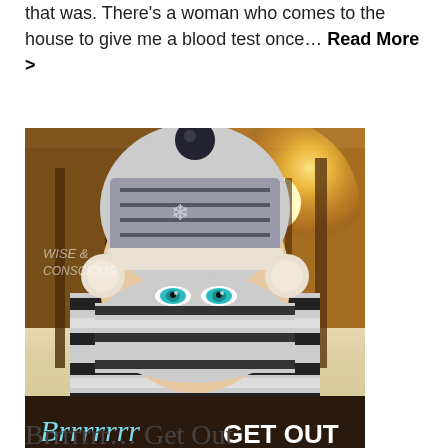that was. There's a woman who comes to the house to give me a blood test once… Read More >
[Figure (photo): A person bundled up in a patterned winter knit hat with a pompom, ear muffs, and a black-and-white striped scarf covering most of their face, showing only bright teal/blue eyes. Snowy forest background with sunlight. Dark brown banner at the bottom reads 'Brrrrrrr GET OUT' in blue script and white bold text. Watermark 'WISE & CONSCIOUS' visible in upper left.]
Brrrrrrr… Get Out